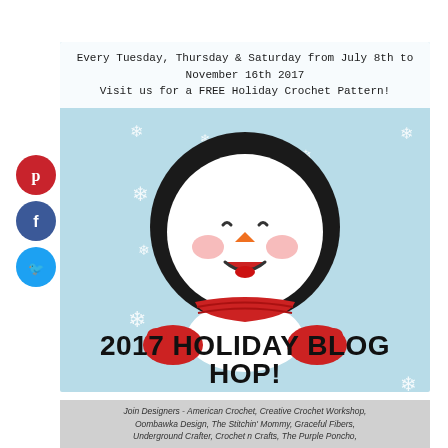[Figure (illustration): Holiday blog hop banner featuring a cartoon snowman wearing a black hat and red scarf with mittens, on a light blue snowy background with white snowflakes. Text at top reads: 'Every Tuesday, Thursday & Saturday from July 8th to November 16th 2017 Visit us for a FREE Holiday Crochet Pattern!' and at the bottom '2017 HOLIDAY BLOG HOP!'. Social media icons (Pinterest, Facebook, Twitter) on the left side.]
Join Designers - American Crochet, Creative Crochet Workshop, Oombawka Design, The Stitchin' Mommy, Graceful Fibers, Underground Crafter, Crochet n Crafts, The Purple Poncho